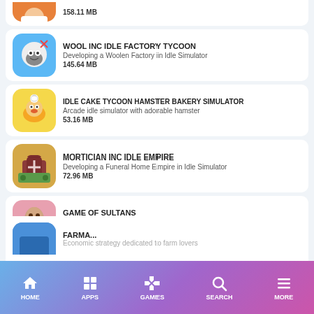158.11 MB
WOOL INC IDLE FACTORY TYCOON | Developing a Woolen Factory in Idle Simulator | 145.64 MB
IDLE CAKE TYCOON HAMSTER BAKERY SIMULATOR | Arcade idle simulator with adorable hamster | 53.16 MB
MORTICIAN INC IDLE EMPIRE | Developing a Funeral Home Empire in Idle Simulator | 72.96 MB
GAME OF SULTANS | Lead the Ottoman Empire in a strategic RPG | 1018.2 MB
HOME | APPS | GAMES | SEARCH | MORE